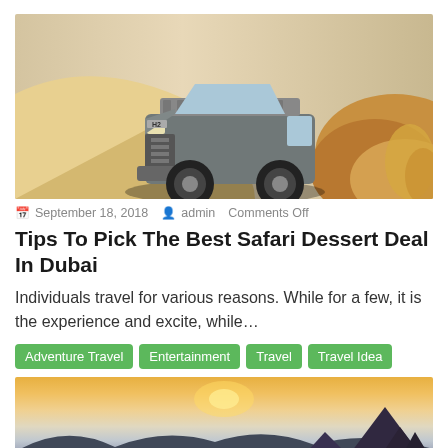[Figure (photo): A silver Hummer H2 SUV driving through desert sand dunes, kicking up sand as it crests a dune. The background shows golden sandy dunes under a bright sky.]
🗓 September 18, 2018  👤 admin  Comments Off
Tips To Pick The Best Safari Dessert Deal In Dubai
Individuals travel for various reasons. While for a few, it is the experience and excite, while...
Adventure Travel
Entertainment
Travel
Travel Idea
[Figure (photo): A scenic mountain landscape at sunset or sunrise, with dramatic peaks emerging from low-lying fog or clouds. The sky transitions from warm orange-yellow near the horizon to cooler tones above.]